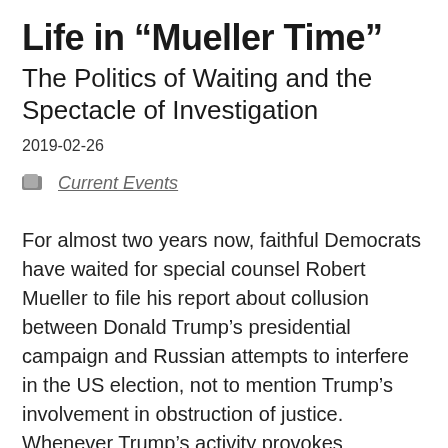Life in “Mueller Time”
The Politics of Waiting and the Spectacle of Investigation
2019-02-26
Current Events
For almost two years now, faithful Democrats have waited for special counsel Robert Mueller to file his report about collusion between Donald Trump’s presidential campaign and Russian attempts to interfere in the US election, not to mention Trump’s involvement in obstruction of justice. Whenever Trump’s activity provokes